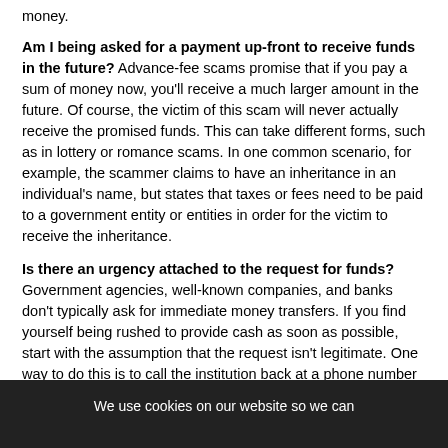money.
Am I being asked for a payment up-front to receive funds in the future? Advance-fee scams promise that if you pay a sum of money now, you'll receive a much larger amount in the future. Of course, the victim of this scam will never actually receive the promised funds. This can take different forms, such as in lottery or romance scams. In one common scenario, for example, the scammer claims to have an inheritance in an individual's name, but states that taxes or fees need to be paid to a government entity or entities in order for the victim to receive the inheritance.
Is there an urgency attached to the request for funds? Government agencies, well-known companies, and banks don't typically ask for immediate money transfers. If you find yourself being rushed to provide cash as soon as possible, start with the assumption that the request isn't legitimate. One way to do this is to call the institution back at a phone number you've used before or that you find on its website, not the contact i...
We use cookies on our website so we can